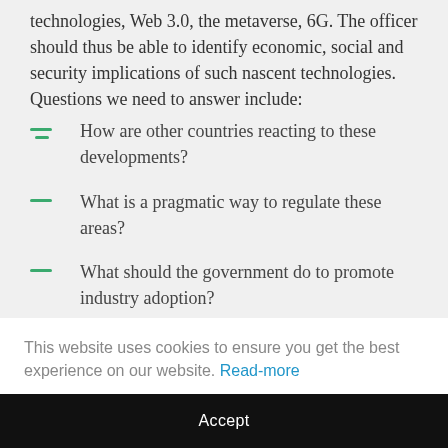technologies, Web 3.0, the metaverse, 6G. The officer should thus be able to identify economic, social and security implications of such nascent technologies. Questions we need to answer include:
How are other countries reacting to these developments?
What is a pragmatic way to regulate these areas?
What should the government do to promote industry adoption?
This website uses cookies to ensure you get the best experience on our website. Read-more
Accept